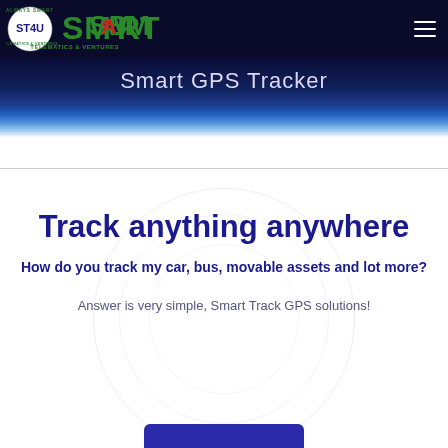[Figure (logo): ST4U Smart Telematics & Ventures logo — circular badge on left with green and red lettering, hamburger menu icon on right, dark navy background header]
Smart GPS Tracker
Track anything anywhere
How do you track my car, bus, movable assets and lot more?
Answer is very simple, Smart Track GPS solutions!